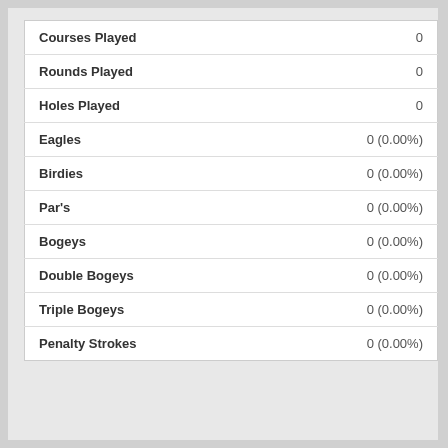| Stat | Value |
| --- | --- |
| Courses Played | 0 |
| Rounds Played | 0 |
| Holes Played | 0 |
| Eagles | 0 (0.00%) |
| Birdies | 0 (0.00%) |
| Par's | 0 (0.00%) |
| Bogeys | 0 (0.00%) |
| Double Bogeys | 0 (0.00%) |
| Triple Bogeys | 0 (0.00%) |
| Penalty Strokes | 0 (0.00%) |
| Basic Information |
| --- |
| Biography: |  |
| From: | Indianapoilis, Indiana, U.S.A |